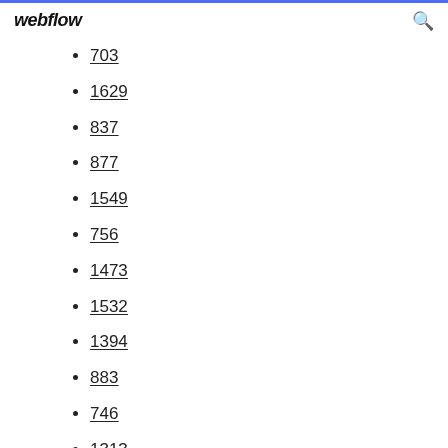webflow
703
1629
837
877
1549
756
1473
1532
1394
883
746
1313
333